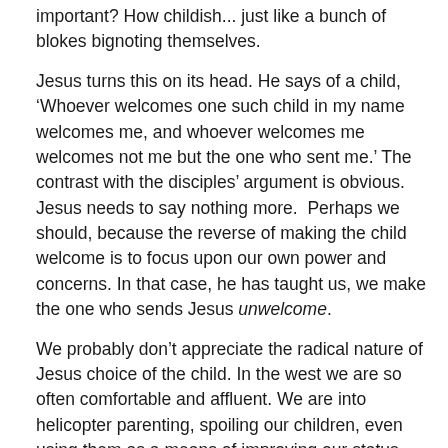important? How childish... just like a bunch of blokes bignoting themselves.
Jesus turns this on its head. He says of a child, ‘Whoever welcomes one such child in my name welcomes me, and whoever welcomes me welcomes not me but the one who sent me.’ The contrast with the disciples’ argument is obvious. Jesus needs to say nothing more.  Perhaps we should, because the reverse of making the child welcome is to focus upon our own power and concerns. In that case, he has taught us, we make the one who sends Jesus unwelcome.
We probably don’t appreciate the radical nature of Jesus choice of the child. In the west we are so often comfortable and affluent. We are into helicopter parenting, spoiling our children, even using them as a means of improving our status. Perhaps before reading this text we should remind ourselves of the Josef Fitzls, the child soldiers, and the slave labour of little